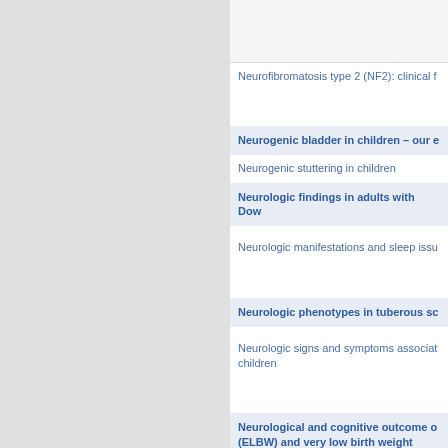Neurofibromatosis type 2 (NF2): clinical f
Neurogenic bladder in children – our e
Neurogenic stuttering in children
Neurologic findings in adults with Dow
Neurologic manifestations and sleep issu
Neurologic phenotypes in tuberous sc
Neurologic signs and symptoms associat children
Neurological and cognitive outcome o (ELBW) and very low birth weight (VLB years of age